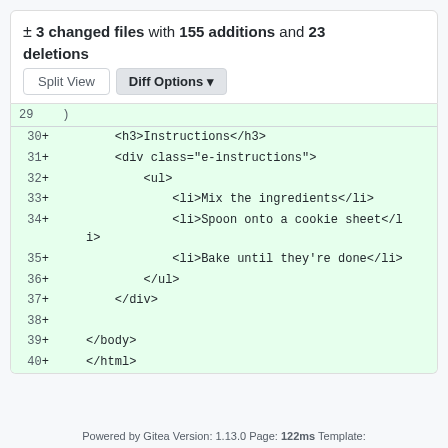± 3 changed files with 155 additions and 23 deletions
[Figure (screenshot): Git diff view showing added HTML lines 30-40 with green background, line numbers, plus signs, and monospace code content]
Powered by Gitea Version: 1.13.0 Page: 122ms Template: